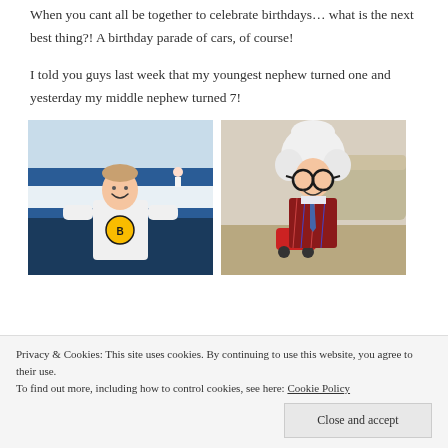When you cant all be together to celebrate birthdays... what is the next best thing?! A birthday parade of cars, of course!
I told you guys last week that my youngest nephew turned one and yesterday my middle nephew turned 7!
[Figure (photo): Boy in a Boston Bruins hockey jersey standing in front of an ice rink]
[Figure (photo): Boy wearing a white afro wig and funny glasses with a plaid vest and tie, smiling]
Privacy & Cookies: This site uses cookies. By continuing to use this website, you agree to their use. To find out more, including how to control cookies, see here: Cookie Policy